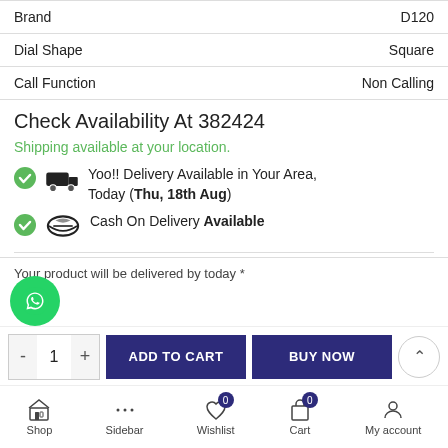| Brand | D120 |
| Dial Shape | Square |
| Call Function | Non Calling |
Check Availability At 382424
Shipping available at your location.
Yoo!! Delivery Available in Your Area, Today (Thu, 18th Aug)
Cash On Delivery Available
Your product will be delivered by today *
Shop  Sidebar  Wishlist 0  Cart 0  My account